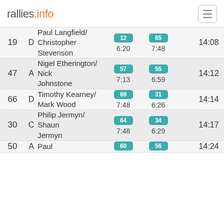rallies.info
| # | Class | Name | SS1 | SS2 |  | Time |
| --- | --- | --- | --- | --- | --- | --- |
| 19 | D | Paul Langfield/ Christopher Stevenson | 12
6:20 | 65
7:48 |  | 14:08 |
| 47 | A | Nigel Etherington/ Nick Johnstone | 57
7:13 | 55
6:59 |  | 14:12 |
| 66 | D | Timothy Kearney/ Mark Wood | 69
7:48 | 31
6:26 |  | 14:14 |
| 30 | C | Philip Jermyn/ Shaun Jermyn | 64
7:48 | 34
6:29 |  | 14:17 |
| 50 | A | Paul … | 60
… | 56
… |  | 14:24 |